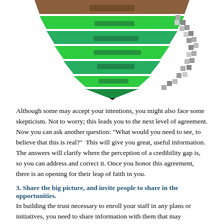[Figure (infographic): An inverted triangle / funnel diagram with multiple horizontal green layers tapering to a point at the bottom, with a brown/dark top layer. A pixelated diagonal arrow points downward-right along the right edge. Text labels on each layer are blurred/illegible.]
Although some may accept your intentions, you might also face some skepticism. Not to worry; this leads you to the next level of agreement. Now you can ask another question: "What would you need to see, to believe that this is real?"  This will give you great, useful information. The answers will clarify where the perception of a credibility gap is, so you can address and correct it. Once you honor this agreement, there is an opening for their leap of faith in you.
3. Share the big picture, and invite people to share in the opportunities.
In building the trust necessary to enroll your staff in any plans or initiatives, you need to share information with them that may previously have been